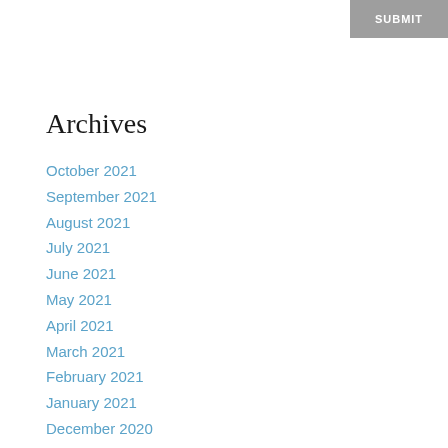SUBMIT
Archives
October 2021
September 2021
August 2021
July 2021
June 2021
May 2021
April 2021
March 2021
February 2021
January 2021
December 2020
November 2020
October 2020